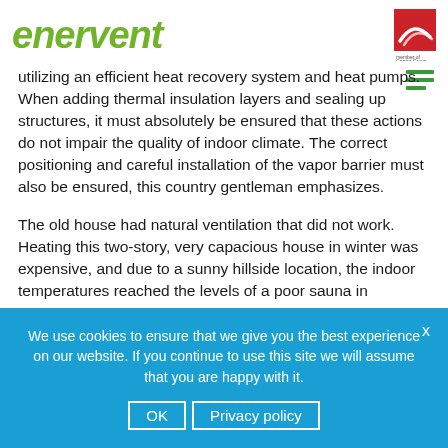enervent
utilizing an efficient heat recovery system and heat pumps. When adding thermal insulation layers and sealing up structures, it must absolutely be ensured that these actions do not impair the quality of indoor climate. The correct positioning and careful installation of the vapor barrier must also be ensured, this country gentleman emphasizes.
The old house had natural ventilation that did not work. Heating this two-story, very capacious house in winter was expensive, and due to a sunny hillside location, the indoor temperatures reached the levels of a poor sauna in summer.
We use cookies to ensure that we give you the best experience on our website. If you continue to use this site we will assume that you are happy with it.